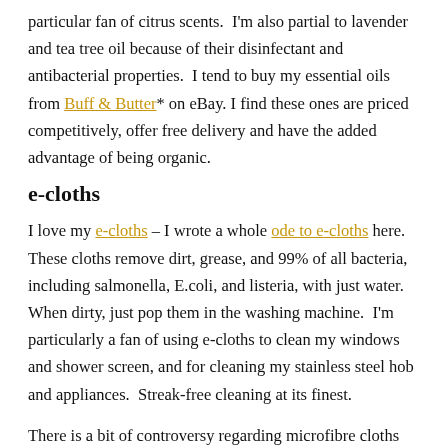particular fan of citrus scents.  I'm also partial to lavender and tea tree oil because of their disinfectant and antibacterial properties.  I tend to buy my essential oils from Buff & Butter* on eBay. I find these ones are priced competitively, offer free delivery and have the added advantage of being organic.
e-cloths
I love my e-cloths – I wrote a whole ode to e-cloths here.  These cloths remove dirt, grease, and 99% of all bacteria, including salmonella, E.coli, and listeria, with just water.  When dirty, just pop them in the washing machine.  I'm particularly a fan of using e-cloths to clean my windows and shower screen, and for cleaning my stainless steel hob and appliances.  Streak-free cleaning at its finest.
There is a bit of controversy regarding microfibre cloths